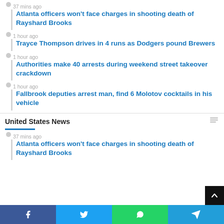37 mins ago
Atlanta officers won't face charges in shooting death of Rayshard Brooks
1 hour ago
Trayce Thompson drives in 4 runs as Dodgers pound Brewers
1 hour ago
Authorities make 40 arrests during weekend street takeover crackdown
1 hour ago
Fallbrook deputies arrest man, find 6 Molotov cocktails in his vehicle
United States News
37 mins ago
Atlanta officers won't face charges in shooting death of Rayshard Brooks